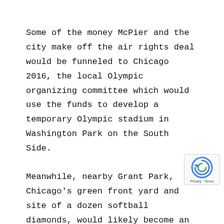Some of the money McPier and the city make off the air rights deal would be funneled to Chicago 2016, the local Olympic organizing committee which would use the funds to develop a temporary Olympic stadium in Washington Park on the South Side.
Meanwhile, nearby Grant Park, Chicago's green front yard and site of a dozen softball diamonds, would likely become an 'Olympic Fest' location'a party playground that would attract 100,000 people a day with high-tech international-nation kiosks, giant video screens showcasing live Olympic events and big-name entertainment. Upper Hutchinson Field, a four-diamond complex on the west side of Columbus Drive, is the proposed site of Olympic archery competition.
With all these grand plans and trampled grass on the drawing
[Figure (other): reCAPTCHA badge with circular arrow icon and Privacy - Terms text]